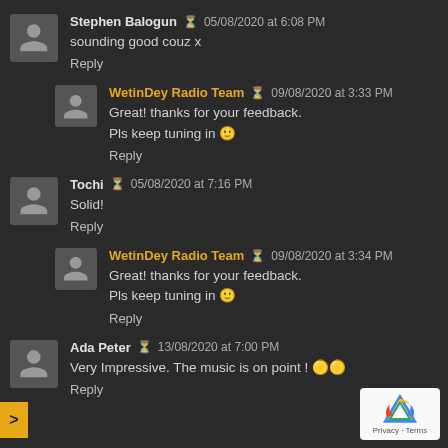Stephen Balogun  05/08/2020 at 6:08 PM
sounding good couz x
Reply
WetinDey Radio Team  09/08/2020 at 3:33 PM
Great! thanks for your feedback.
Pls keep tuning in 🙂
Reply
Tochi  05/08/2020 at 7:16 PM
Solid!
Reply
WetinDey Radio Team  09/08/2020 at 3:34 PM
Great! thanks for your feedback.
Pls keep tuning in 🙂
Reply
Ada Peter  13/08/2020 at 7:00 PM
Very Impressive. The music is on point ! 🌟🌟
Reply